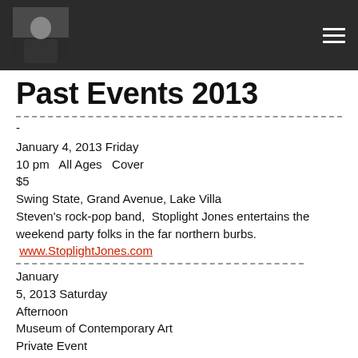[Navigation header with photo and hamburger menu]
Past Events 2013
-
January 4, 2013 Friday
10 pm  All Ages  Cover
$5
Swing State, Grand Avenue, Lake Villa
Steven's rock-pop band,  Stoplight Jones entertains the weekend party folks in the far northern burbs.  www.StoplightJones.com
January
5, 2013 Saturday
Afternoon
Museum of Contemporary Art
Private Event